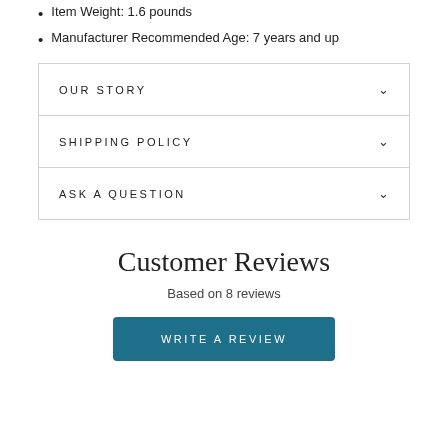Item Weight: 1.6 pounds
Manufacturer Recommended Age: 7 years and up
OUR STORY
SHIPPING POLICY
ASK A QUESTION
Customer Reviews
Based on 8 reviews
WRITE A REVIEW